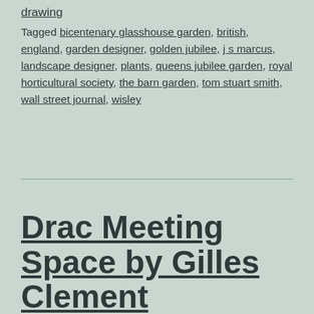drawing
Tagged bicentenary glasshouse garden, british, england, garden designer, golden jubilee, j s marcus, landscape designer, plants, queens jubilee garden, royal horticultural society, the barn garden, tom stuart smith, wall street journal, wisley
Drac Meeting Space by Gilles Clement